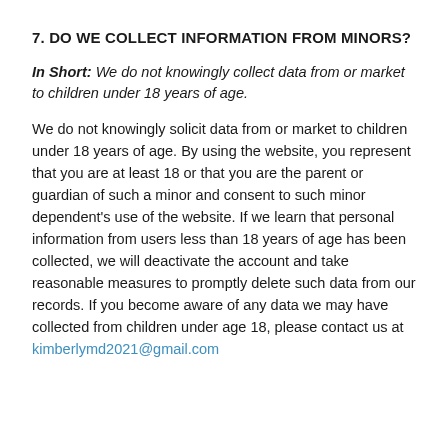7. DO WE COLLECT INFORMATION FROM MINORS?
In Short: We do not knowingly collect data from or market to children under 18 years of age.
We do not knowingly solicit data from or market to children under 18 years of age. By using the website, you represent that you are at least 18 or that you are the parent or guardian of such a minor and consent to such minor dependent’s use of the website. If we learn that personal information from users less than 18 years of age has been collected, we will deactivate the account and take reasonable measures to promptly delete such data from our records. If you become aware of any data we may have collected from children under age 18, please contact us at kimberlymd2021@gmail.com